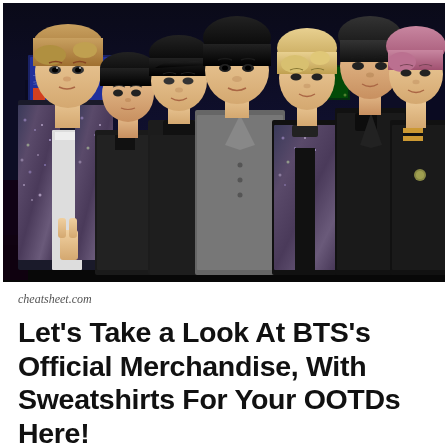[Figure (photo): BTS group photo of seven members posing together at what appears to be Times Square at night. Members are wearing a mix of sparkly/sequined jackets, black leather jackets, and formal coats. Purple neon lights glow in the background.]
cheatsheet.com
Let’s Take a Look At BTS’s Official Merchandise, With Sweatshirts For Your OOTDs Here!